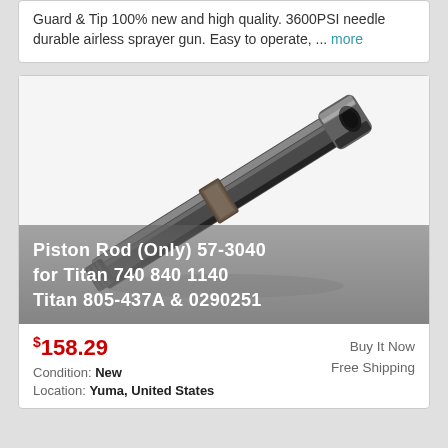Guard & Tip 100% new and high quality. 3600PSI needle durable airless sprayer gun. Easy to operate, ... more
[Figure (photo): Metal piston rod (part 57-3040) for Titan 740 840 1140 airless sprayer, shown diagonally on white background with overlay text reading: Piston Rod (Only) 57-3040 for Titan 740 840 1140 Titan 805-437A & 0290251]
$158.29
Buy It Now
Free Shipping
Condition: New
Location: Yuma, United States